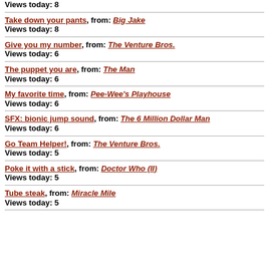Views today: 8
Take down your pants, from: Big Jake
Views today: 8
Give you my number, from: The Venture Bros.
Views today: 6
The puppet you are, from: The Man
Views today: 6
My favorite time, from: Pee-Wee's Playhouse
Views today: 6
SFX: bionic jump sound, from: The 6 Million Dollar Man
Views today: 6
Go Team Helper!, from: The Venture Bros.
Views today: 5
Poke it with a stick, from: Doctor Who (II)
Views today: 5
Tube steak, from: Miracle Mile
Views today: 5